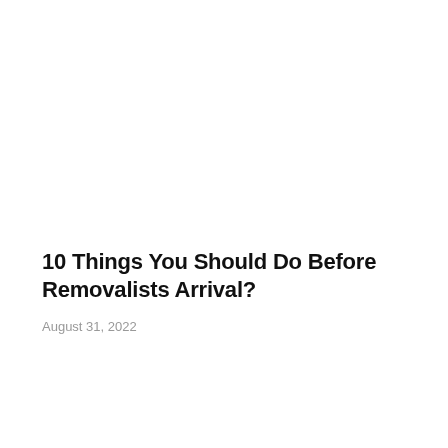10 Things You Should Do Before Removalists Arrival?
August 31, 2022